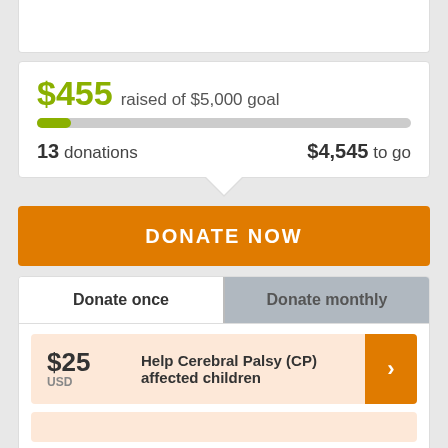$455 raised of $5,000 goal
[Figure (infographic): Progress bar showing 9% of $5,000 goal raised ($455)]
13 donations
$4,545 to go
DONATE NOW
Donate once
Donate monthly
$25 USD Help Cerebral Palsy (CP) affected children